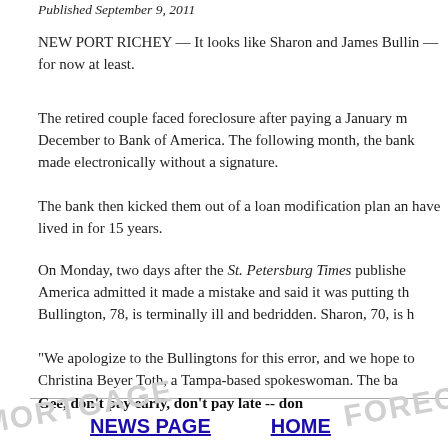Published September 9, 2011
NEW PORT RICHEY — It looks like Sharon and James Bullin— for now at least.
The retired couple faced foreclosure after paying a January m December to Bank of America. The following month, the bank made electronically without a signature.
The bank then kicked them out of a loan modification plan an have lived in for 15 years.
On Monday, two days after the St. Petersburg Times publishe America admitted it made a mistake and said it was putting th Bullington, 78, is terminally ill and bedridden. Sharon, 70, is h
"We apologize to the Bullingtons for this error, and we hope to Christina Beyer Toth, a Tampa-based spokeswoman. The ba
Defense attorney Shawn Yesner said no agreement to settle expect to hear from bank lawyers until Wednesday.
Gee, don't pay early, don't pay late -- don
NEWS PAGE    HOME